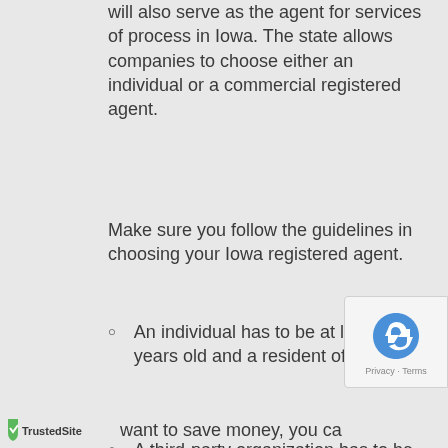will also serve as the agent for services of process in Iowa. The state allows companies to choose either an individual or a commercial registered agent.
Make sure you follow the guidelines in choosing your Iowa registered agent.
An individual has to be at least 18 years old and a resident of Iowa.
A third-party organization has to be authorized to transact in Iowa.
The registered agent has to be available during normal business hours.
want to save money, you can appoint one of